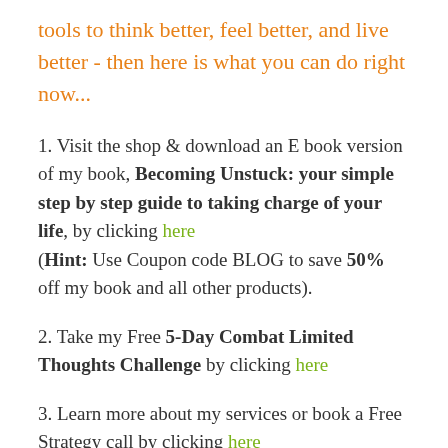tools to think better, feel better, and live better - then here is what you can do right now...
1. Visit the shop & download an E book version of my book, Becoming Unstuck: your simple step by step guide to taking charge of your life, by clicking here
(Hint: Use Coupon code BLOG to save 50% off my book and all other products).
2. Take my Free 5-Day Combat Limited Thoughts Challenge by clicking here
3. Learn more about my services or book a Free Strategy call by clicking here